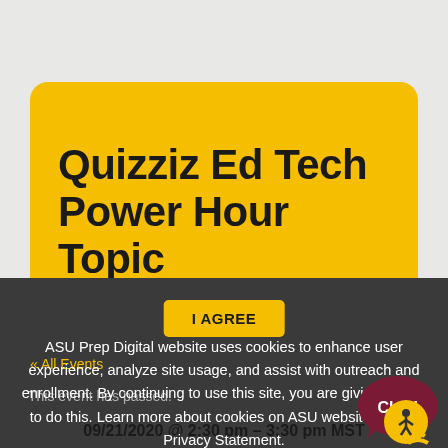Quizziz Ed Tech Power Hour Topic
I AGREE
« All Events
ASU Prep Digital website uses cookies to enhance user experience, analyze site usage, and assist with outreach and enrollment. By continuing to use this site, you are giving consent to do this. Learn more about cookies on ASU websites in our Privacy Statement.
This event has passed.
09/21/2020 @ 2:30 pm – 3:30 pm MST